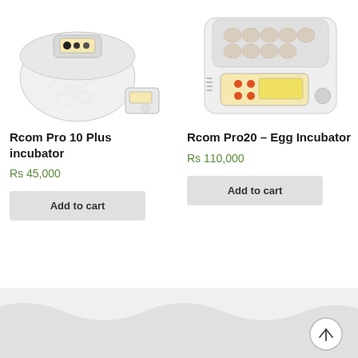[Figure (photo): Rcom Pro 10 Plus egg incubator - dome-shaped white incubator with transparent base showing eggs inside and external controller unit]
[Figure (photo): Rcom Pro20 Egg Incubator - rectangular white incubator with eggs visible in tray and digital display panel with orange buttons]
Rcom Pro 10 Plus incubator
Rs 45,000
Add to cart
Rcom Pro20 – Egg Incubator
Rs 110,000
Add to cart